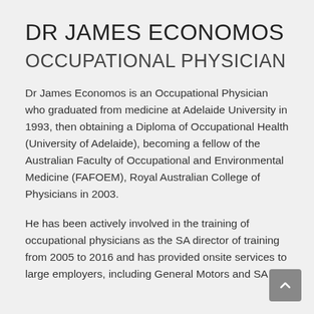DR JAMES ECONOMOS
OCCUPATIONAL PHYSICIAN
Dr James Economos is an Occupational Physician who graduated from medicine at Adelaide University in 1993, then obtaining a Diploma of Occupational Health (University of Adelaide), becoming a fellow of the Australian Faculty of Occupational and Environmental Medicine (FAFOEM), Royal Australian College of Physicians in 2003.
He has been actively involved in the training of occupational physicians as the SA director of training from 2005 to 2016 and has provided onsite services to large employers, including General Motors and SA